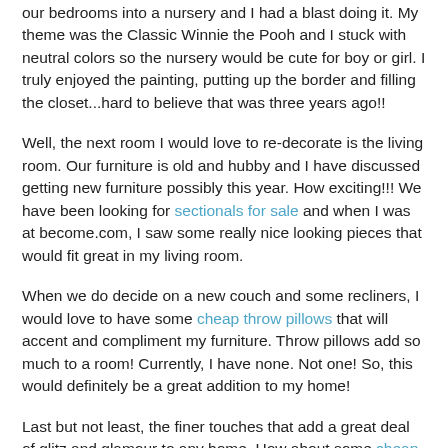our bedrooms into a nursery and I had a blast doing it. My theme was the Classic Winnie the Pooh and I stuck with neutral colors so the nursery would be cute for boy or girl. I truly enjoyed the painting, putting up the border and filling the closet...hard to believe that was three years ago!!
Well, the next room I would love to re-decorate is the living room. Our furniture is old and hubby and I have discussed getting new furniture possibly this year. How exciting!!! We have been looking for sectionals for sale and when I was at become.com, I saw some really nice looking pieces that would fit great in my living room.
When we do decide on a new couch and some recliners, I would love to have some cheap throw pillows that will accent and compliment my furniture. Throw pillows add so much to a room! Currently, I have none. Not one! So, this would definitely be a great addition to my home!
Last but not least, the finer touches that add a great deal of glitz and glamour to any home. How about some cheap vases? I am not talking about tacky vases, but some that